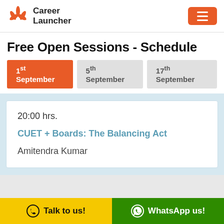Career Launcher
Free Open Sessions - Schedule
1st September | 5th September | 17th September
20:00 hrs.
CUET + Boards: The Balancing Act
Amitendra Kumar
Talk to us! | WhatsApp us!